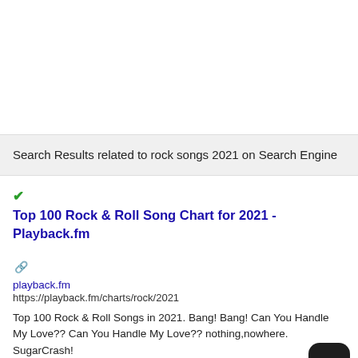Search Results related to rock songs 2021 on Search Engine
✔Top 100 Rock & Roll Song Chart for 2021 - Playback.fm
playback.fm
https://playback.fm/charts/rock/2021
Top 100 Rock & Roll Songs in 2021. Bang! Bang! Can You Handle My Love?? Can You Handle My Love?? nothing,nowhere. SugarCrash!
DA: 13  PA: 14  MOZ Rank: 42